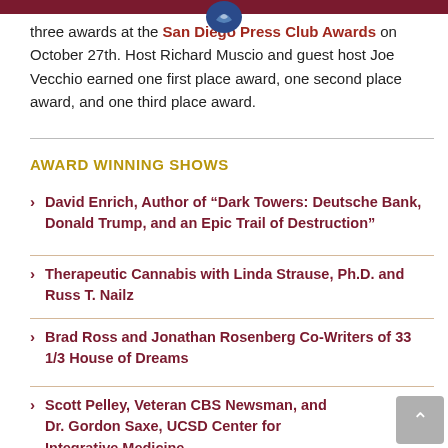three awards at the San Diego Press Club Awards on October 27th. Host Richard Muscio and guest host Joe Vecchio earned one first place award, one second place award, and one third place award.
AWARD WINNING SHOWS
David Enrich, Author of “Dark Towers: Deutsche Bank, Donald Trump, and an Epic Trail of Destruction”
Therapeutic Cannabis with Linda Strause, Ph.D. and Russ T. Nailz
Brad Ross and Jonathan Rosenberg Co-Writers of 33 1/3 House of Dreams
Scott Pelley, Veteran CBS Newsman, and Dr. Gordon Saxe, UCSD Center for Integrative Medicine